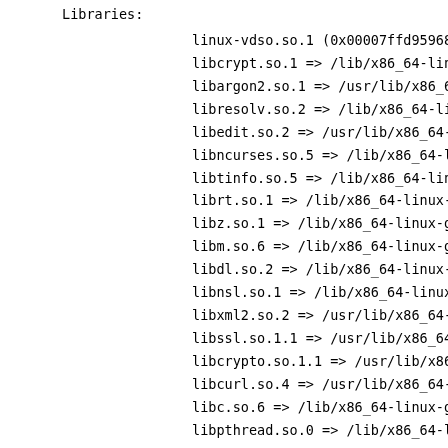Libraries:
linux-vdso.so.1 (0x00007ffd95968000
libcrypt.so.1 => /lib/x86_64-linux-
libargon2.so.1 => /usr/lib/x86_64-l
libresolv.so.2 => /lib/x86_64-linux
libedit.so.2 => /usr/lib/x86_64-lin
libncurses.so.5 => /lib/x86_64-linu
libtinfo.so.5 => /lib/x86_64-linux-
librt.so.1 => /lib/x86_64-linux-gnu
libz.so.1 => /lib/x86_64-linux-gnu/
libm.so.6 => /lib/x86_64-linux-gnu/
libdl.so.2 => /lib/x86_64-linux-gnu
libnsl.so.1 => /lib/x86_64-linux-gn
libxml2.so.2 => /usr/lib/x86_64-lin
libssl.so.1.1 => /usr/lib/x86_64-li
libcrypto.so.1.1 => /usr/lib/x86_64
libcurl.so.4 => /usr/lib/x86_64-lin
libc.so.6 => /lib/x86_64-linux-gnu/
libpthread.so.0 => /lib/x86_64-linu